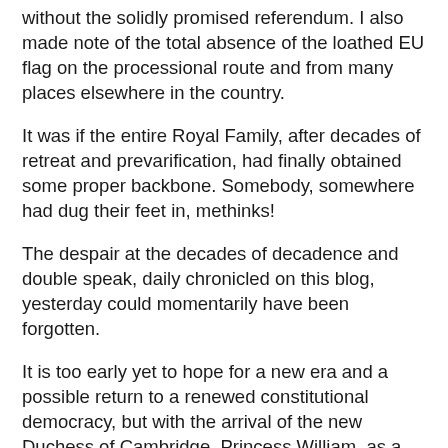without the solidly promised referendum. I also made note of the total absence of the loathed EU flag on the processional route and from many places elsewhere in the country.
It was if the entire Royal Family, after decades of retreat and prevarification, had finally obtained some proper backbone. Somebody, somewhere had dug their feet in, methinks!
The despair at the decades of decadence and double speak, daily chronicled on this blog, yesterday could momentarily have been forgotten.
It is too early yet to hope for a new era and a possible return to a renewed constitutional democracy, but with the arrival of the new Duchess of Cambridge, Princess William, as a future Queen, a glimmer of daylight perhaps can be discerned at the end of the long dark tunnel which has had our country ever deeper entrapped within the EU.
Eleanor of Aquitaine brought huge new territories in Aquitaine  as a dowry for the Planagenet Henry II when she foresook the French King in his preference. Kate Middleton